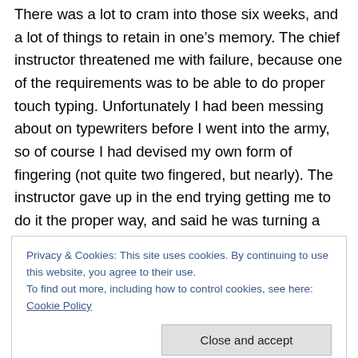There was a lot to cram into those six weeks, and a lot of things to retain in one’s memory. The chief instructor threatened me with failure, because one of the requirements was to be able to do proper touch typing. Unfortunately I had been messing about on typewriters before I went into the army, so of course I had devised my own form of fingering (not quite two fingered, but nearly). The instructor gave up in the end trying getting me to do it the proper way, and said he was turning a blind eye. His requirements of me were the speed and accuracy of my typing, and as I managed to type without error (something
Privacy & Cookies: This site uses cookies. By continuing to use this website, you agree to their use.
To find out more, including how to control cookies, see here: Cookie Policy
We had messages arriving in different coded forms, and